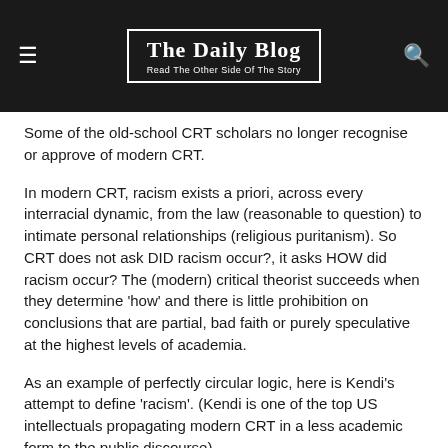The Daily Blog — Read The Other Side Of The Story
Some of the old-school CRT scholars no longer recognise or approve of modern CRT.
In modern CRT, racism exists a priori, across every interracial dynamic, from the law (reasonable to question) to intimate personal relationships (religious puritanism). So CRT does not ask DID racism occur?, it asks HOW did racism occur? The (modern) critical theorist succeeds when they determine 'how' and there is little prohibition on conclusions that are partial, bad faith or purely speculative at the highest levels of academia.
As an example of perfectly circular logic, here is Kendi's attempt to define 'racism'. (Kendi is one of the top US intellectuals propagating modern CRT in a less academic form to the public discourse). https://youtu.be/GyNBEM9NXO0?t=116
Reply